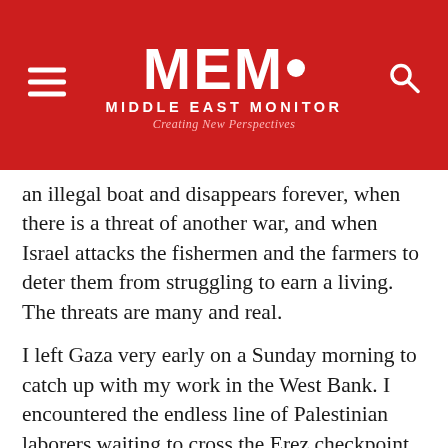MEMO MIDDLE EAST MONITOR — Creating New Perspectives
an illegal boat and disappears forever, when there is a threat of another war, and when Israel attacks the fishermen and the farmers to deter them from struggling to earn a living. The threats are many and real.
I left Gaza very early on a Sunday morning to catch up with my work in the West Bank. I encountered the endless line of Palestinian laborers waiting to cross the Erez checkpoint to work. I was told that they had been waiting since 4am. In their lean bodies, dark wrinkled faces, cheap cigarettes and the plastic bags they carried with a change of underwear, I saw a tableau of modern slavery. Unlike them, I